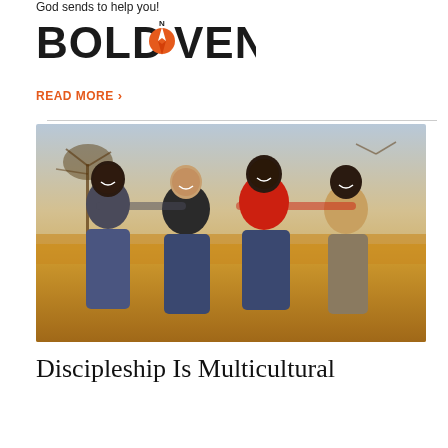God sends to help you!
[Figure (logo): BoldVenture logo with compass icon and bold text]
READ MORE >
[Figure (photo): Four men standing together outdoors in an African landscape with dry grass and sparse trees. One man wears a red shirt, one wears a black shirt, and two wear casual shirts.]
Discipleship Is Multicultural